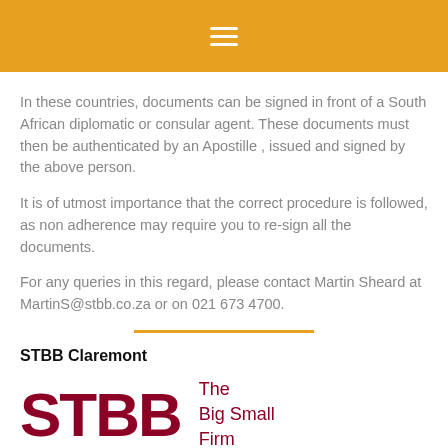In these countries, documents can be signed in front of a South African diplomatic or consular agent. These documents must then be authenticated by an Apostille , issued and signed by the above person.
It is of utmost importance that the correct procedure is followed, as non adherence may require you to re-sign all the documents.
For any queries in this regard, please contact Martin Sheard at MartinS@stbb.co.za or on 021 673 4700.
STBB Claremont
[Figure (logo): STBB logo with large bold dark red letters 'STBB' and tagline 'The Big Small Firm' in dark red to the right]
www.stbb.co.za